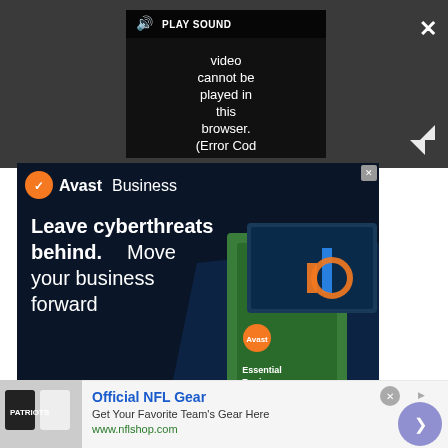[Figure (screenshot): Video player UI showing error message: 'Video cannot be played in this browser. (Error Cod' with PLAY SOUND button, close X button and expand icon on dark background]
[Figure (screenshot): Avast Business advertisement on dark navy background with Avast logo, headline 'Leave cyberthreats behind. Move your business forward', BUY NOW button, and product image of Essential Business Security software box]
[Figure (screenshot): Official NFL Gear advertisement bar showing NFL merchandise image, text 'Official NFL Gear - Get Your Favorite Team's Gear Here - www.nflshop.com', with circular arrow navigation button]